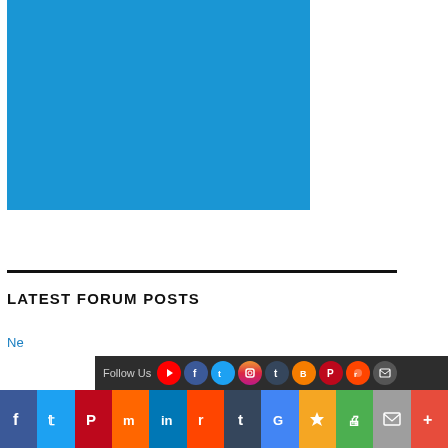[Figure (illustration): Large solid blue rectangle placeholder image]
LATEST FORUM POSTS
Ne...
[Figure (infographic): Dark follow us bar with social media icon circles (YouTube, Facebook, Twitter, Instagram, Tumblr, Blogger, Pinterest, Reddit, Email)]
[Figure (infographic): Social share button bar with Facebook, Twitter, Pinterest, Mix, LinkedIn, Reddit, Tumblr, Google, Bookmark, Print, Email, More buttons]